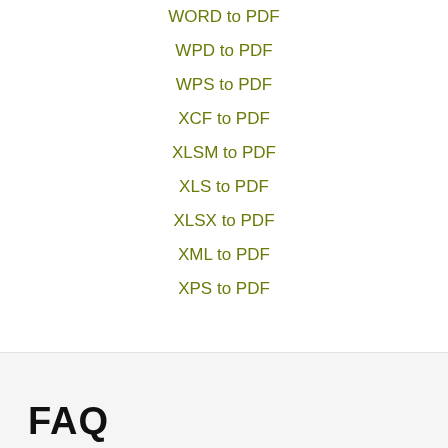WORD to PDF
WPD to PDF
WPS to PDF
XCF to PDF
XLSM to PDF
XLS to PDF
XLSX to PDF
XML to PDF
XPS to PDF
FAQ